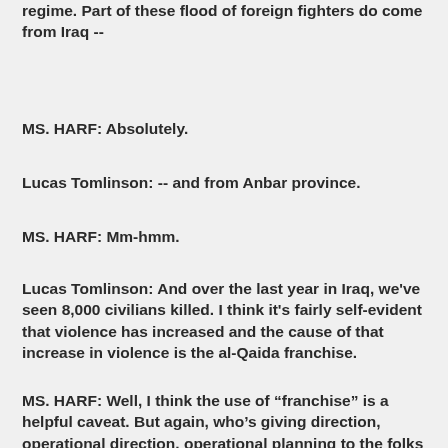regime. Part of these flood of foreign fighters do come from Iraq --
MS. HARF: Absolutely.
Lucas Tomlinson: -- and from Anbar province.
MS. HARF: Mm-hmm.
Lucas Tomlinson: And over the last year in Iraq, we've seen 8,000 civilians killed. I think it's fairly self-evident that violence has increased and the cause of that increase in violence is the al-Qaida franchise.
MS. HARF: Well, I think the use of “franchise” is a helpful caveat. But again, who’s giving direction, operational direction, operational planning to the folks that are perpetrating this violence in Iraq? I’m